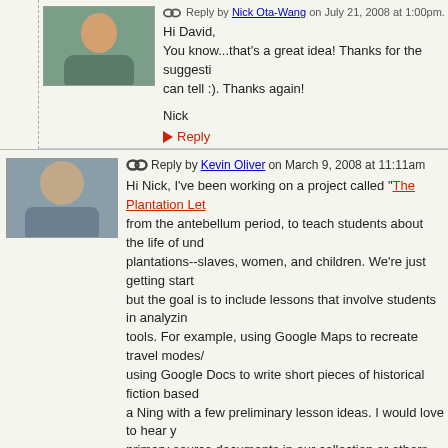Hi David,
You know...that's a great idea! Thanks for the suggestion, as far as I can tell :). Thanks again!

Nick
▶ Reply
Reply by Kevin Oliver on March 9, 2008 at 11:11am
Hi Nick, I've been working on a project called "The Plantation Letters" from the antebellum period, to teach students about the life of under-represented people on plantations--slaves, women, and children. We're just getting started, but the goal is to include lessons that involve students in analyzing primary sources using digital tools. For example, using Google Maps to recreate travel modes/routes; using Google Docs to write short pieces of historical fiction based on letters; and a Ning with a few preliminary lesson ideas. I would love to hear your ideas about how primary source documents in our collection or others. Footnote and ideas in terms of students annotating/reflecting on specific letters.
▶ Reply
Reply by Nick Ota-Wang on July 13, 2008 at 2:56pm
Hi Kevin,
Thanks for this suggestion!
Would you want to maybe c...
Sign in to chat!